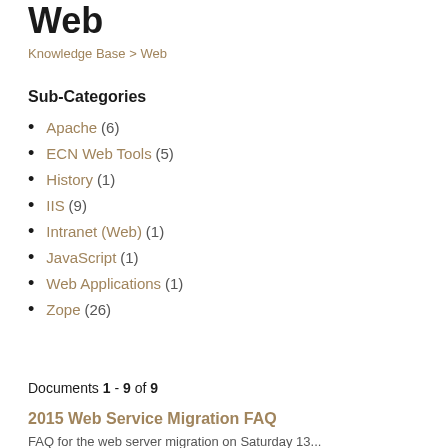Web
Knowledge Base > Web
Sub-Categories
Apache (6)
ECN Web Tools (5)
History (1)
IIS (9)
Intranet (Web) (1)
JavaScript (1)
Web Applications (1)
Zope (26)
Documents 1 - 9 of 9
2015 Web Service Migration FAQ